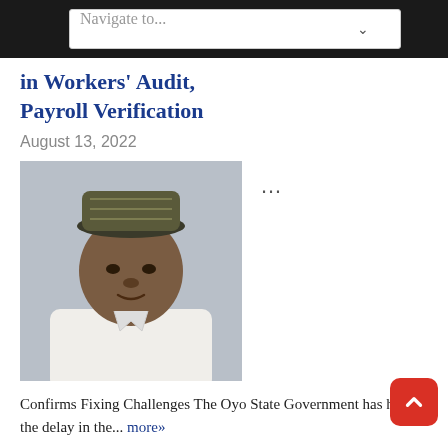Navigate to...
in Workers' Audit, Payroll Verification
August 13, 2022
[Figure (photo): Portrait photo of a man wearing a traditional Nigerian cap and white attire]
Confirms Fixing Challenges The Oyo State Government has hinged the delay in the... more»
Wife of the President